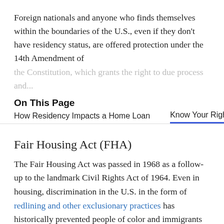Foreign nationals and anyone who finds themselves within the boundaries of the U.S., even if they don't have residency status, are offered protection under the 14th Amendment of the Constitution, which grants the right to due process and...
On This Page
How Residency Impacts a Home Loan     Know Your Rights
Fair Housing Act (FHA)
The Fair Housing Act was passed in 1968 as a follow-up to the landmark Civil Rights Act of 1964. Even in housing, discrimination in the U.S. in the form of redlining and other exclusionary practices has historically prevented people of color and immigrants from purchasing homes in certain neighborhoods, the effects of which can still be seen and felt today. The Fair Housing Act made it illegal to discriminate in the selling, financing, or renting of property to an individual...